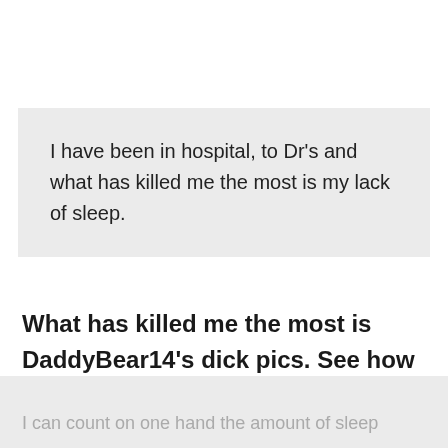I have been in hospital, to Dr's and what has killed me the most is my lack of sleep.
What has killed me the most is DaddyBear14's dick pics. See how well you function staying up past 3 a.m. chatting on Scruff.
I can count on one hand the amount of sleep